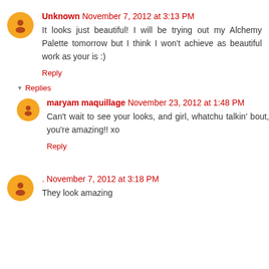Unknown November 7, 2012 at 3:13 PM
It looks just beautiful! I will be trying out my Alchemy Palette tomorrow but I think I won't achieve as beautiful work as your is :)
Reply
Replies
maryam maquillage November 23, 2012 at 1:48 PM
Can't wait to see your looks, and girl, whatchu talkin' bout, you're amazing!! xo
Reply
. November 7, 2012 at 3:18 PM
They look amazing